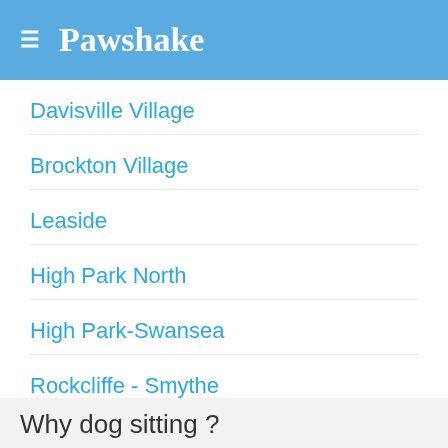≡ Pawshake
Davisville Village
Brockton Village
Leaside
High Park North
High Park-Swansea
Rockcliffe - Smythe
Clanton Park
Why dog sitting ?